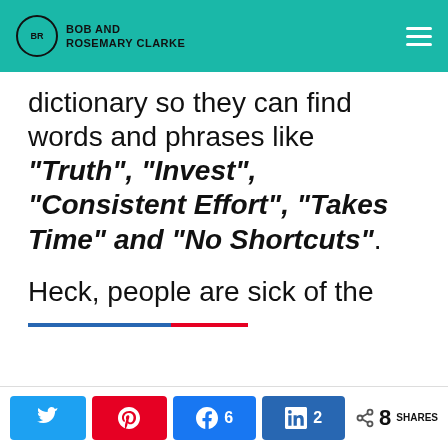Bob and Rosemary Clarke
dictionary so they can find words and phrases like “Truth”, “Invest”, “Consistent Effort”, “Takes Time” and “No Shortcuts”.
Heck, people are sick of the
Share buttons: Twitter, Pinterest, Facebook 6, LinkedIn 2, 8 SHARES